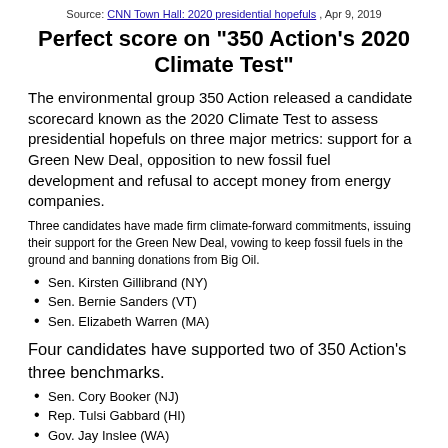Source: CNN Town Hall: 2020 presidential hopefuls , Apr 9, 2019
Perfect score on "350 Action's 2020 Climate Test"
The environmental group 350 Action released a candidate scorecard known as the 2020 Climate Test to assess presidential hopefuls on three major metrics: support for a Green New Deal, opposition to new fossil fuel development and refusal to accept money from energy companies.
Three candidates have made firm climate-forward commitments, issuing their support for the Green New Deal, vowing to keep fossil fuels in the ground and banning donations from Big Oil.
Sen. Kirsten Gillibrand (NY)
Sen. Bernie Sanders (VT)
Sen. Elizabeth Warren (MA)
Four candidates have supported two of 350 Action's three benchmarks.
Sen. Cory Booker (NJ)
Rep. Tulsi Gabbard (HI)
Gov. Jay Inslee (WA)
Andrew Yang (CA)
Three candidates have failed all three of 350 Action's tests, attacking the Green New Deal or making no firm pledges to work against fossil fuel companies.